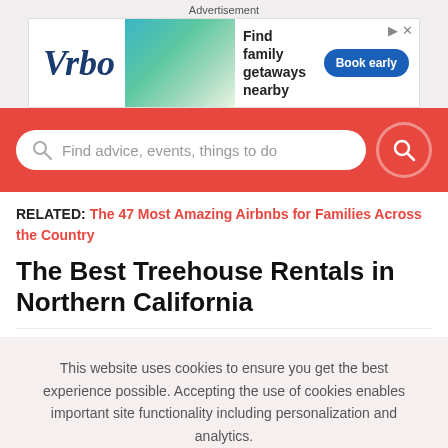Advertisement
[Figure (other): Vrbo advertisement banner: Vrbo logo on left, tropical house image, text 'Find family getaways nearby', blue 'Book early' button]
[Figure (other): Red search bar with placeholder text 'Find advice, events, things to do' and a red circular search button]
RELATED: The 47 Most Amazing Airbnbs for Families Across the Country
The Best Treehouse Rentals in Northern California
This website uses cookies to ensure you get the best experience possible. Accepting the use of cookies enables important site functionality including personalization and analytics.
Accept
Decline